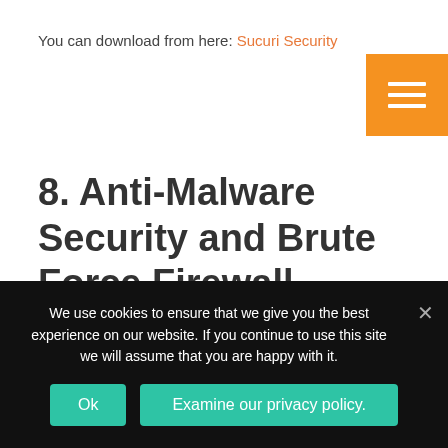You can download from here: Sucuri Security
[Figure (other): Orange hamburger menu button with three white horizontal bars]
8. Anti-Malware Security and Brute Force Firewall
We use cookies to ensure that we give you the best experience on our website. If you continue to use this site we will assume that you are happy with it.
Ok | Examine our privacy policy.